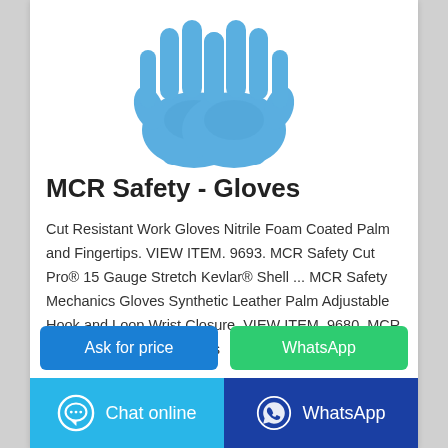[Figure (photo): Two blue nitrile safety gloves displayed against a white background]
MCR Safety - Gloves
Cut Resistant Work Gloves Nitrile Foam Coated Palm and Fingertips. VIEW ITEM. 9693. MCR Safety Cut Pro® 15 Gauge Stretch Kevlar® Shell ... MCR Safety Mechanics Gloves Synthetic Leather Palm Adjustable Hook and Loop Wrist Closure. VIEW ITEM. 9680. MCR Safety NXG® Work Gloves
Ask for price
WhatsApp
Chat online
WhatsApp